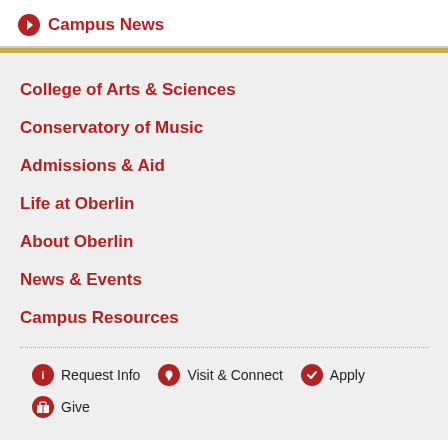Campus News
College of Arts & Sciences
Conservatory of Music
Admissions & Aid
Life at Oberlin
About Oberlin
News & Events
Campus Resources
Request Info
Visit & Connect
Apply
Give